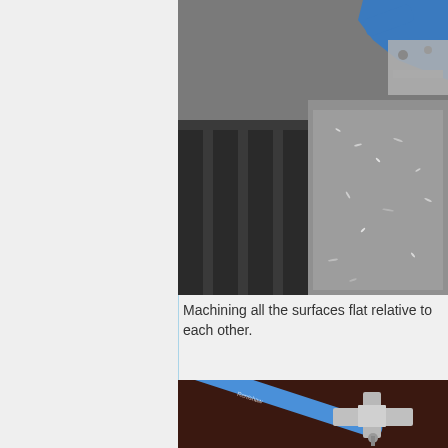[Figure (photo): CNC machining operation showing a milling setup on a metal workpiece with metal shavings scattered on the surface. A blue-colored clamp/fixture holds the workpiece on a machine table with T-slots visible.]
Machining all the surfaces flat relative to each other.
[Figure (photo): Close-up of a blue-handled tool (likely a dial indicator or similar precision measurement tool) attached to a T-shaped metal fitting/bracket on a dark background.]